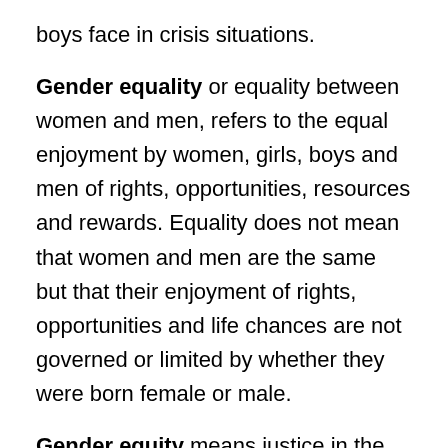boys face in crisis situations.
Gender equality or equality between women and men, refers to the equal enjoyment by women, girls, boys and men of rights, opportunities, resources and rewards. Equality does not mean that women and men are the same but that their enjoyment of rights, opportunities and life chances are not governed or limited by whether they were born female or male.
Gender equity means justice in the distribution of resources, benefits and responsibilities between women and men,